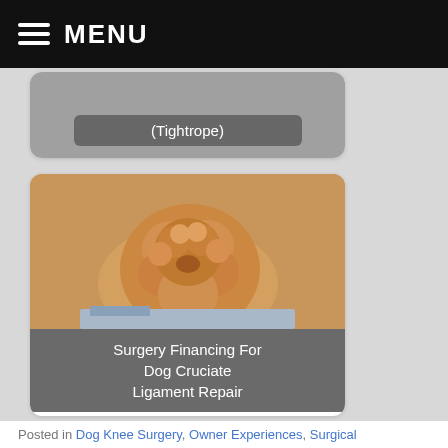MENU
[Figure (photo): Card partially visible at top showing '(Tightrope)' label on a grey background]
[Figure (photo): A golden/apricot poodle or golden retriever dog photographed from above, with text overlay 'Surgery Financing For Dog Cruciate Ligament Repair']
[Figure (photo): A dog peeking over a ledge or fence surrounded by green foliage, with text overlay 'Does A Dog's Size Impact Surgery Success For Cruciate...']
Posted in Dog Knee Surgery, Owner Experiences, Surgical